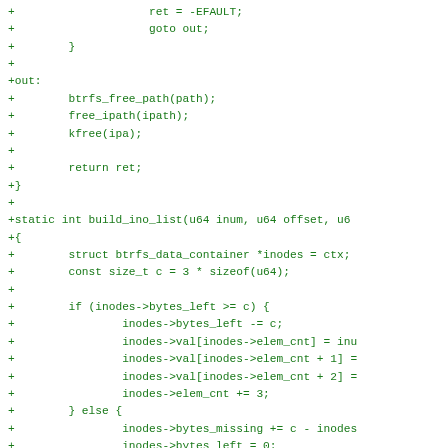Code diff showing C kernel code with btrfs_free_path, free_ipath, kfree, return ret, build_ino_list function, and struct btrfs_data_container operations